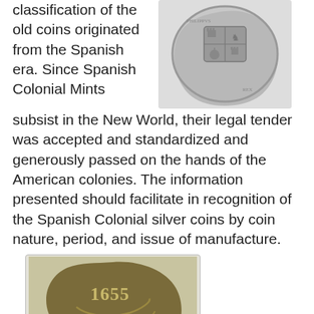classification of the old coins originated from the Spanish era. Since Spanish Colonial Mints subsist in the New World, their legal tender was accepted and standardized and generously passed on the hands of the American colonies. The information presented should facilitate in recognition of the Spanish Colonial silver coins by coin nature, period, and issue of manufacture.
[Figure (photo): A silver Spanish colonial coin showing a coat of arms, roughly circular with irregular edges, viewed from above.]
[Figure (photo): A dark bronze/copper Spanish colonial coin dated 1655, irregular shape, showing numerals and design elements.]